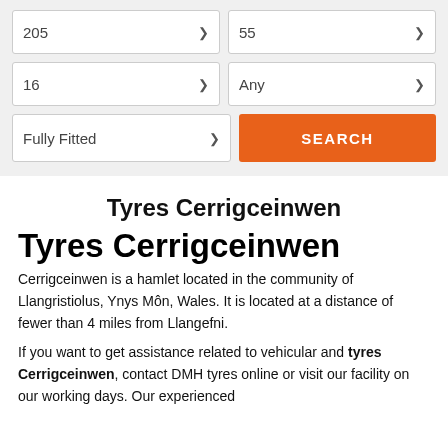[Figure (screenshot): Search form UI with dropdown selectors showing values 205, 55, 16, Any, Fully Fitted, and an orange SEARCH button]
Tyres Cerrigceinwen
Tyres Cerrigceinwen
Cerrigceinwen is a hamlet located in the community of Llangristiolus, Ynys Môn, Wales. It is located at a distance of fewer than 4 miles from Llangefni.
If you want to get assistance related to vehicular and tyres Cerrigceinwen, contact DMH tyres online or visit our facility on our working days. Our experienced